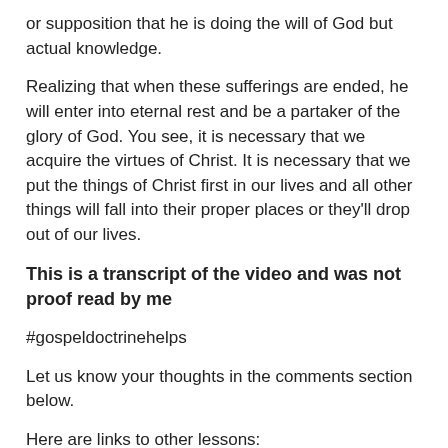or supposition that he is doing the will of God but actual knowledge.
Realizing that when these sufferings are ended, he will enter into eternal rest and be a partaker of the glory of God. You see, it is necessary that we acquire the virtues of Christ. It is necessary that we put the things of Christ first in our lives and all other things will fall into their proper places or they'll drop out of our lives.
This is a transcript of the video and was not proof read by me
#gospeldoctrinehelps
Let us know your thoughts in the comments section below.
Here are links to other lessons: